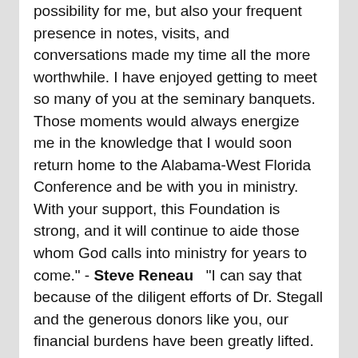possibility for me, but also your frequent presence in notes, visits, and conversations made my time all the more worthwhile. I have enjoyed getting to meet so many of you at the seminary banquets. Those moments would always energize me in the knowledge that I would soon return home to the Alabama-West Florida Conference and be with you in ministry. With your support, this Foundation is strong, and it will continue to aide those whom God calls into ministry for years to come." - Steve Reneau   "I can say that because of the diligent efforts of Dr. Stegall and the generous donors like you, our financial burdens have been greatly lifted. Without your generosity, we would be facing today great debt that burdens so many that graduate from seminary and enter into a surrendered life of ministry of giving. The irony is that those who go through seminary are not going for the purpose of securing a financially lucrative career. Yet, without